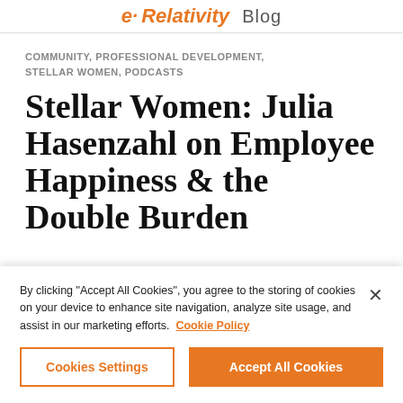e·Relativity Blog
COMMUNITY, PROFESSIONAL DEVELOPMENT, STELLAR WOMEN, PODCASTS
Stellar Women: Julia Hasenzahl on Employee Happiness & the Double Burden
By clicking “Accept All Cookies”, you agree to the storing of cookies on your device to enhance site navigation, analyze site usage, and assist in our marketing efforts. Cookie Policy
Cookies Settings | Accept All Cookies